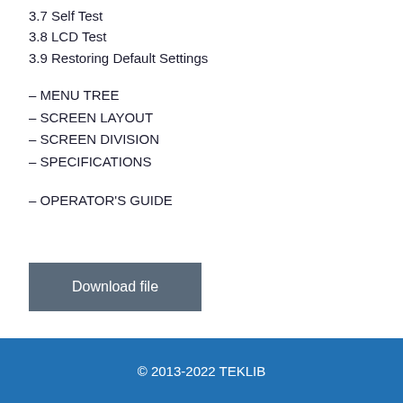3.7 Self Test
3.8 LCD Test
3.9 Restoring Default Settings
– MENU TREE
– SCREEN LAYOUT
– SCREEN DIVISION
– SPECIFICATIONS
– OPERATOR'S GUIDE
Download file
© 2013-2022 TEKLIB